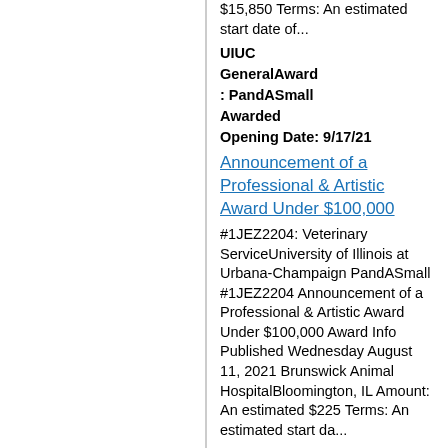$15,850 Terms: An estimated start date of...
UIUC
GeneralAward
: PandASmall
Awarded
Opening Date: 9/17/21
Announcement of a Professional & Artistic Award Under $100,000
#1JEZ2204: Veterinary ServiceUniversity of Illinois at Urbana-Champaign PandASmall #1JEZ2204 Announcement of a Professional & Artistic Award Under $100,000 Award Info Published Wednesday August 11, 2021 Brunswick Animal HospitalBloomington, IL Amount: An estimated $225 Terms: An estimated start da...
UIUC
GeneralAward
: PandASmall
Awarded
Opening Date: 8/12/21
Announcement of a